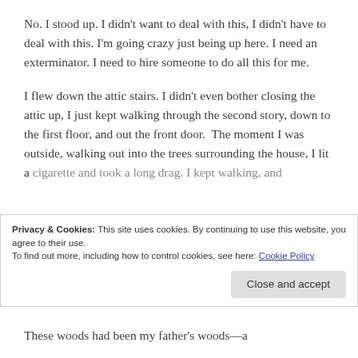No. I stood up. I didn't want to deal with this, I didn't have to deal with this. I'm going crazy just being up here. I need an exterminator. I need to hire someone to do all this for me.
I flew down the attic stairs. I didn't even bother closing the attic up, I just kept walking through the second story, down to the first floor, and out the front door.  The moment I was outside, walking out into the trees surrounding the house, I lit a cigarette and took a long drag. I kept walking, and
Privacy & Cookies: This site uses cookies. By continuing to use this website, you agree to their use.
To find out more, including how to control cookies, see here: Cookie Policy
These woods had been my father's woods—a